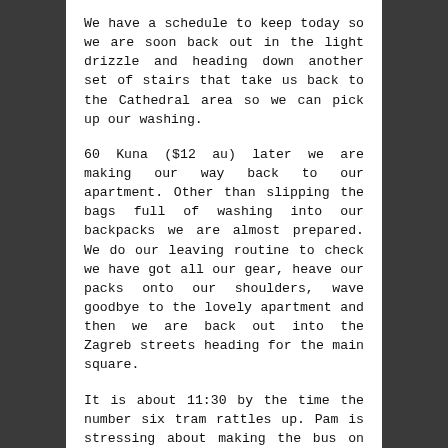We have a schedule to keep today so we are soon back out in the light drizzle and heading down another set of stairs that take us back to the Cathedral area so we can pick up our washing.
60 Kuna ($12 au) later we are making our way back to our apartment. Other than slipping the bags full of washing into our backpacks we are almost prepared. We do our leaving routine to check we have got all our gear, heave our packs onto our shoulders, wave goodbye to the lovely apartment and then we are back out into the Zagreb streets heading for the main square.
It is about 11:30 by the time the number six tram rattles up. Pam is stressing about making the bus on time as we push our way onto the tightly packed tram.
With our full packs it is hard to balance against the movement of the tram without jostling the passengers wedged beside us. This is an older tram